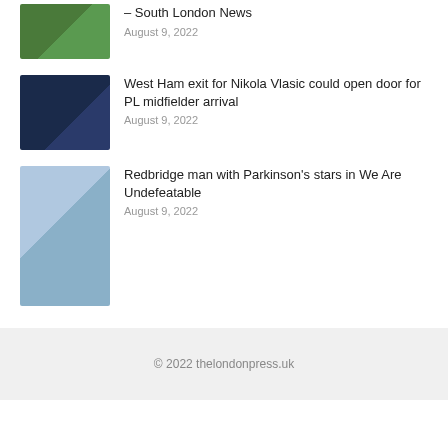– South London News
August 9, 2022
West Ham exit for Nikola Vlasic could open door for PL midfielder arrival
August 9, 2022
Redbridge man with Parkinson's stars in We Are Undefeatable
August 9, 2022
© 2022 thelondonpress.uk